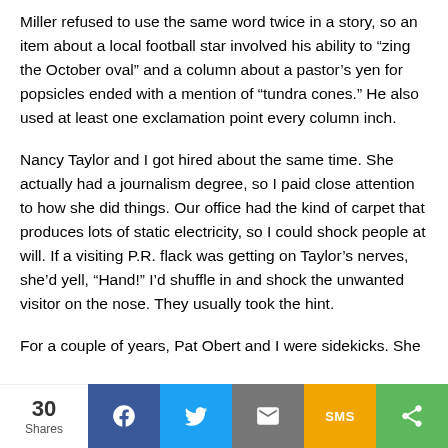Miller refused to use the same word twice in a story, so an item about a local football star involved his ability to “zing the October oval” and a column about a pastor’s yen for popsicles ended with a mention of “tundra cones.” He also used at least one exclamation point every column inch.
Nancy Taylor and I got hired about the same time. She actually had a journalism degree, so I paid close attention to how she did things. Our office had the kind of carpet that produces lots of static electricity, so I could shock people at will. If a visiting P.R. flack was getting on Taylor’s nerves, she’d yell, “Hand!” I’d shuffle in and shock the unwanted visitor on the nose. They usually took the hint.
For a couple of years, Pat Obert and I were sidekicks. She
30 Shares | Facebook | Twitter | Email | SMS | Share